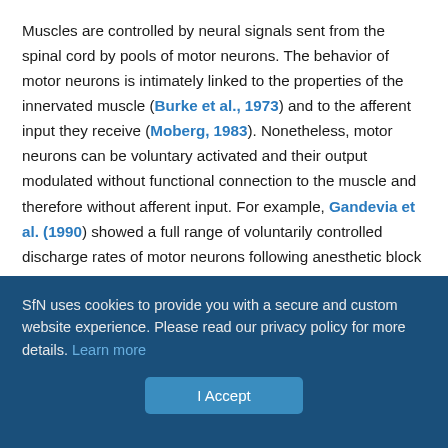Muscles are controlled by neural signals sent from the spinal cord by pools of motor neurons. The behavior of motor neurons is intimately linked to the properties of the innervated muscle (Burke et al., 1973) and to the afferent input they receive (Moberg, 1983). Nonetheless, motor neurons can be voluntary activated and their output modulated without functional connection to the muscle and therefore without afferent input. For example, Gandevia et al. (1990) showed a full range of voluntarily controlled discharge rates of motor neurons following anesthetic block of the nerve connecting them to hand muscles. Studies on voluntary control of motor neurons in the partial or complete absence of afferent feedback are fundamental for the design of man-machine interfacing for active prostheses because the
SfN uses cookies to provide you with a secure and custom website experience. Please read our privacy policy for more details. Learn more